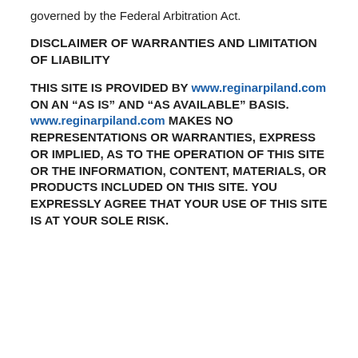governed by the Federal Arbitration Act.
DISCLAIMER OF WARRANTIES AND LIMITATION OF LIABILITY
THIS SITE IS PROVIDED BY www.reginarpiland.com ON AN “AS IS” AND “AS AVAILABLE” BASIS. www.reginarpiland.com MAKES NO REPRESENTATIONS OR WARRANTIES, EXPRESS OR IMPLIED, AS TO THE OPERATION OF THIS SITE OR THE INFORMATION, CONTENT, MATERIALS, OR PRODUCTS INCLUDED ON THIS SITE. YOU EXPRESSLY AGREE THAT YOUR USE OF THIS SITE IS AT YOUR SOLE RISK.